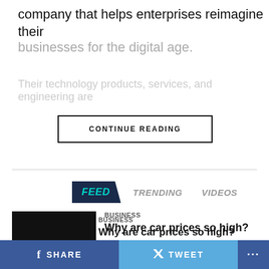company that helps enterprises reimagine their businesses for the digital age.
Their technology products, services, and engineering are
CONTINUE READING
FEED   TRENDING   VIDEOS
BUSINESS
Why are car prices so high?
BUSINESS
U.S. responds to China airline ban with one of its own
SHARE   TWEET   ...